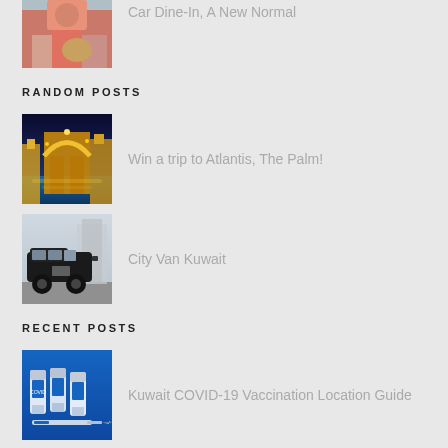[Figure (photo): Partial image of a person in a pink shirt carrying a bag, top of page (Car Dine-In article thumbnail)]
Car Dine-In, A New Normal
RANDOM POSTS
[Figure (photo): Night photo of Atlantis The Palm hotel with illuminated arch and water]
Win a trip to Atlantis, The Palm!
[Figure (photo): Black van (City Van Kuwait) parked on a city street]
City Van Kuwait
RECENT POSTS
[Figure (photo): Blue background with COVID-19 vaccine vials and syringe]
Kuwait COVID-19 Vaccination Location Guide
[Figure (photo): Person in pink shirt carrying a bag - Car Dine-In article thumbnail]
Car Dine-In, A New Normal